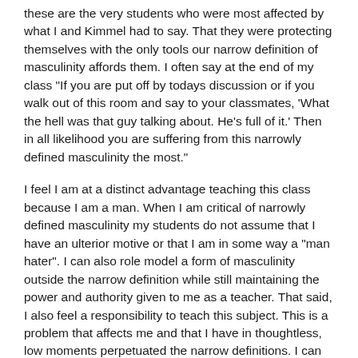these are the very students who were most affected by what I and Kimmel had to say. That they were protecting themselves with the only tools our narrow definition of masculinity affords them. I often say at the end of my class "If you are put off by todays discussion or if you walk out of this room and say to your classmates, 'What the hell was that guy talking about. He's full of it.' Then in all likelihood you are suffering from this narrowly defined masculinity the most."
I feel I am at a distinct advantage teaching this class because I am a man. When I am critical of narrowly defined masculinity my students do not assume that I have an ulterior motive or that I am in some way a "man hater". I can also role model a form of masculinity outside the narrow definition while still maintaining the power and authority given to me as a teacher. That said, I also feel a responsibility to teach this subject. This is a problem that affects me and that I have in thoughtless, low moments perpetuated the narrow definitions. I can discuss with my students how the narrow definition of masculinity has hurt me and how I have hurt